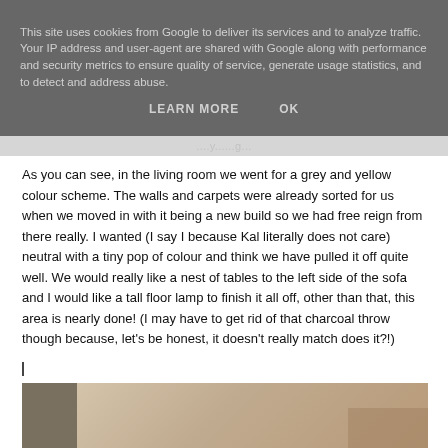This site uses cookies from Google to deliver its services and to analyze traffic. Your IP address and user-agent are shared with Google along with performance and security metrics to ensure quality of service, generate usage statistics, and to detect and address abuse.
LEARN MORE   OK
As you can see, in the living room we went for a grey and yellow colour scheme. The walls and carpets were already sorted for us when we moved in with it being a new build so we had free reign from there really. I wanted (I say I because Kal literally does not care) neutral with a tiny pop of colour and think we have pulled it off quite well. We would really like a nest of tables to the left side of the sofa and I would like a tall floor lamp to finish it all off, other than that, this area is nearly done! (I may have to get rid of that charcoal throw though because, let's be honest, it doesn't really match does it?!)
[Figure (photo): Partial photo of a room interior showing neutral beige/tan walls and what appears to be furniture, cropped at the bottom of the page]